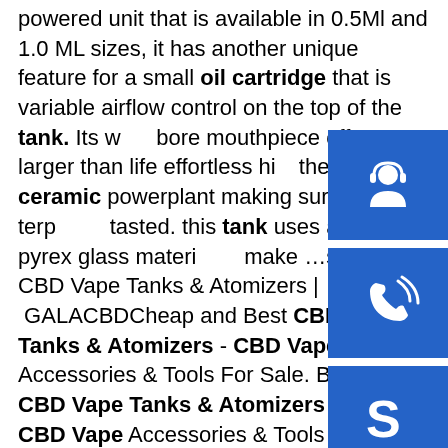powered unit that is available in 0.5Ml and 1.0 ML sizes, it has another unique feature for a small oil cartridge that is variable airflow control on the top of the tank. Its wide bore mouthpiece offers larger than life effortless hits the sweet ceramic powerplant making sure all terp tasted. this tank uses authentic pyrex glass material make …sp.info CBD Vape Tanks & Atomizers | GALACBDCheap and Best CBD Vape Tanks & Atomizers - CBD Vape Accessories & Tools For Sale. Buy Cheap CBD Vape Tanks & Atomizers and Best CBD Vape Accessories & Tools at Our CBD Vape Shop When weed is on the menu, this atomizer has a vape tank meant for vaping weed. Most of them have variable function, however, some of the features are common.sp.info China Best Ceramic Coil Atomizer 510 Thick Oil Tank ...Shenzhen. Lead Time: Best Ceramic Coil Atomizer 510 Thick oil Tank Vaporizer Empty Pen .5Ml 1.0ML Glass Vape Cbd Cartridge. BUL CBD Cartridge Specifications: Features: 1. High tech ceramic coil
[Figure (infographic): Three blue square buttons with white icons stacked vertically on the right side: headset/customer support icon, phone/call icon, Skype icon]